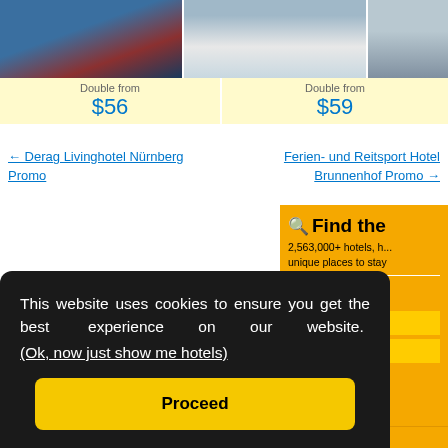[Figure (photo): Three hotel/destination photos shown in a row at the top]
Double from
$56
Double from
$59
← Derag Livinghotel Nürnberg Promo
Ferien- und Reitsport Hotel Brunnenhof Promo →
Find the
2,563,000+ hotels, h...
unique places to stay
Proper
gion, d
te
eptember
ate
eptember
Book now, pay l
This website uses cookies to ensure you get the best experience on our website.
(Ok, now just show me hotels)
Proceed